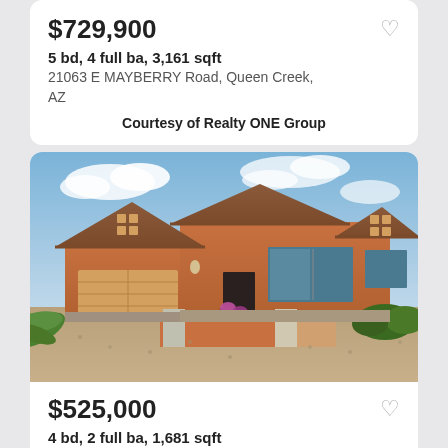$729,900
5 bd, 4 full ba, 3,161 sqft
21063 E MAYBERRY Road, Queen Creek, AZ
Courtesy of Realty ONE Group
[Figure (photo): Exterior photo of a single-story ranch-style home with terracotta/orange stucco siding, tile roof, two-car garage, xeriscaped front yard with gravel and shrubs, and low adobe-style front wall with flower pots.]
$525,000
4 bd, 2 full ba, 1,681 sqft
22042 E VIA DEL RANCHO, QUEEN CREEK, AZ